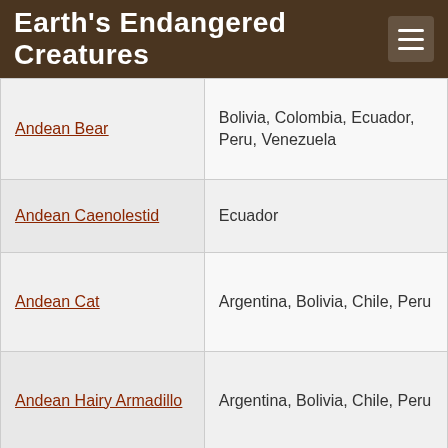Earth's Endangered Creatures
| Animal | Location |
| --- | --- |
| Andean Bear | Bolivia, Colombia, Ecuador, Peru, Venezuela |
| Andean Caenolestid | Ecuador |
| Andean Cat | Argentina, Bolivia, Chile, Peru |
| Andean Hairy Armadillo | Argentina, Bolivia, Chile, Peru |
| Andean Night Monkey | Peru |
| Andean Titi Monkey | Peru |
| Apeco Oldfield Mouse | Peru |
| Aquatic Rat | Ecuador |
| Aratathomas's Yellow Shouldered Bat | Colombia |